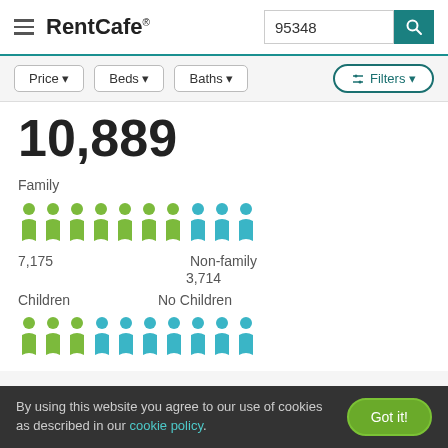RentCafe 95348
Price | Beds | Baths | Filters
10,889
[Figure (infographic): Household type infographic showing Family (7,175) and Non-family (3,714) with person icons in green and blue]
[Figure (infographic): Children status infographic showing Children and No Children with person icons in green and blue]
By using this website you agree to our use of cookies as described in our cookie policy.